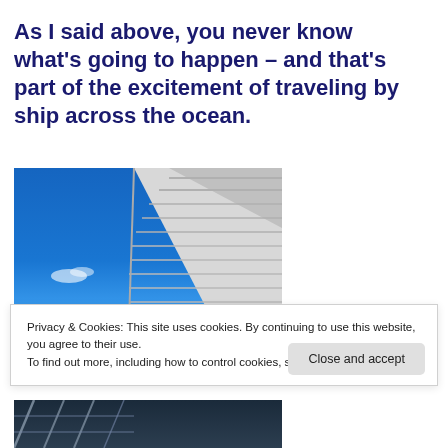As I said above, you never know what’s going to happen – and that’s part of the excitement of traveling by ship across the ocean.
[Figure (photo): Upward angle photo of a ship structure against a bright blue sky with a few white clouds]
Privacy & Cookies: This site uses cookies. By continuing to use this website, you agree to their use.
To find out more, including how to control cookies, see here: Cookie Policy
[Figure (photo): Partial photo at bottom, showing ropes or netting on a ship deck]